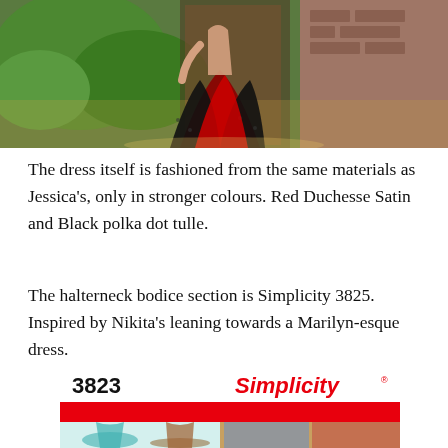[Figure (photo): Top portion of a person wearing a red and black polka dot tulle dress, outdoors near brick and greenery]
The dress itself is fashioned from the same materials as Jessica's, only in stronger colours. Red Duchesse Satin and Black polka dot tulle.
The halterneck bodice section is Simplicity 3825. Inspired by Nikita's leaning towards a Marilyn-esque dress.
[Figure (photo): Simplicity pattern 3823 showing halterneck dress illustrations and model photos in teal, brown, blue and red dresses]